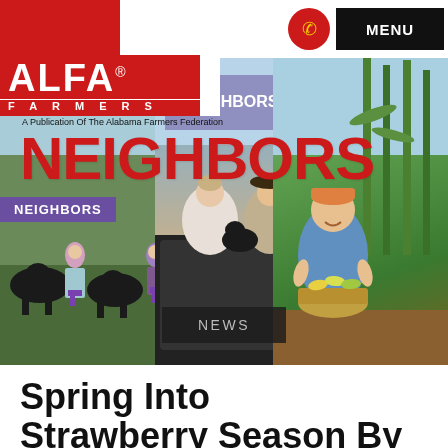[Figure (logo): ALFA Farmers logo - red square background with white ALFA text and FARMERS subtitle]
[Figure (screenshot): Phone icon button (red circle with yellow phone icon) and MENU button (black rectangle)]
[Figure (photo): Neighbors magazine collage banner showing magazine covers and farmers: left shows cattle with people, center shows couple with dog in truck bed, right shows older man holding basket of corn. Red NEIGHBORS text overlay, purple NEIGHBORS badge, dark NEWS badge.]
A Publication Of The Alabama Farmers Federation
Spring Into Strawberry Season By